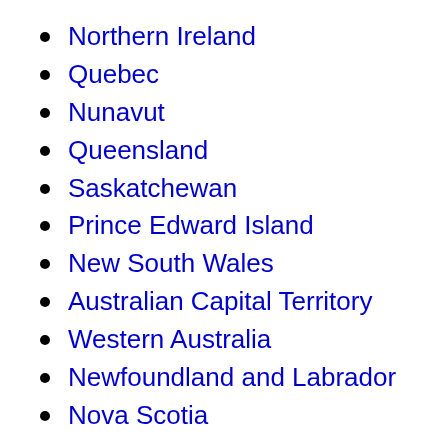Northern Ireland
Quebec
Nunavut
Queensland
Saskatchewan
Prince Edward Island
New South Wales
Australian Capital Territory
Western Australia
Newfoundland and Labrador
Nova Scotia